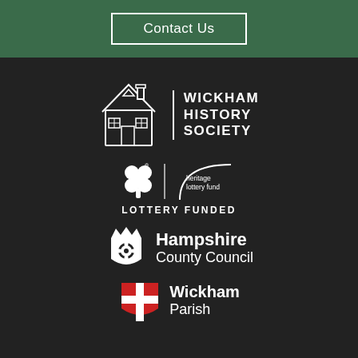Contact Us
[Figure (logo): Wickham History Society logo — house illustration with text WICKHAM HISTORY SOCIETY]
[Figure (logo): Heritage Lottery Fund logo with National Lottery symbol and text 'heritage lottery fund' and 'LOTTERY FUNDED']
[Figure (logo): Hampshire County Council logo with rose crest and text 'Hampshire County Council']
[Figure (logo): Wickham Parish logo with red and white shield and text 'Wickham Parish']